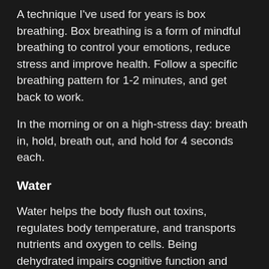A technique I've used for years is box breathing. Box breathing is a form of mindful breathing to control your emotions, reduce stress and improve health. Follow a specific breathing pattern for 1-2 minutes, and get back to work.
In the morning or on a high-stress day: breath in, hold, breath out, and hold for 4 seconds each.
Water
Water helps the body flush out toxins, regulates body temperature, and transports nutrients and oxygen to cells. Being dehydrated impairs cognitive function and causes health problems.
I drink 3L of water daily, sometimes more (I prefer sparkling). You don't need an app for tracking water.